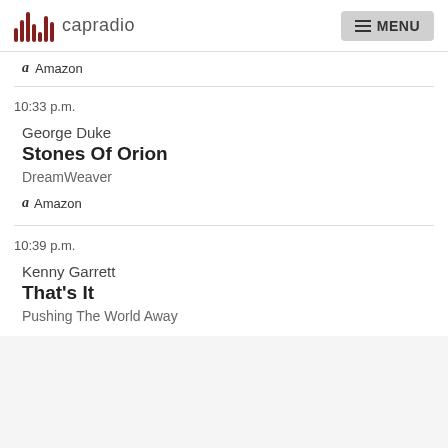capradio  MENU
Amazon
10:33 p.m.
George Duke
Stones Of Orion
DreamWeaver
Amazon
10:39 p.m.
Kenny Garrett
That's It
Pushing The World Away